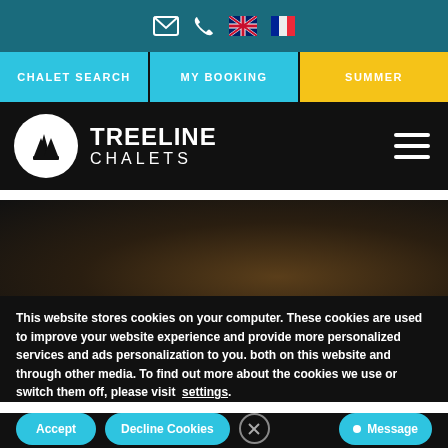[Figure (screenshot): Website screenshot of Treeline Chalets with navigation bar, logo, hero image, and cookie consent overlay]
This website stores cookies on your computer. These cookies are used to improve your website experience and provide more personalized services and ads personalization to you. both on this website and through other media. To find out more about the cookies we use or switch them off, please visit settings.
Accept
Decline Cookies
Message